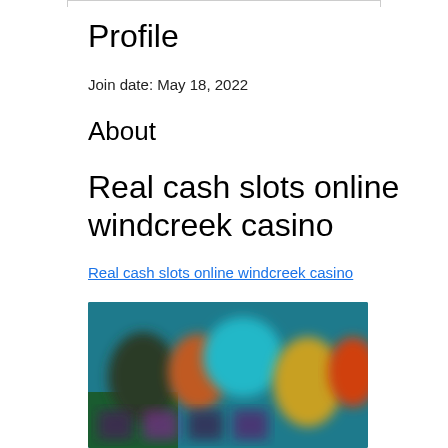Profile
Join date: May 18, 2022
About
Real cash slots online windcreek casino
Real cash slots online windcreek casino
[Figure (screenshot): Blurred screenshot of a casino game interface with colorful characters and game tiles]